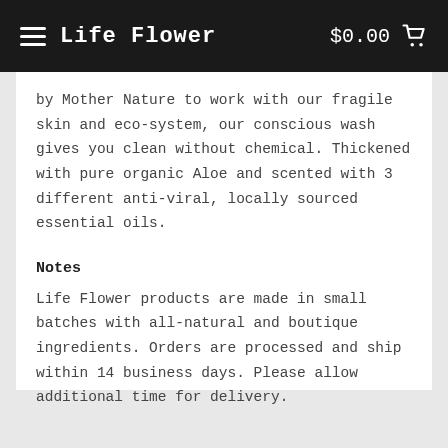Life Flower  $0.00
by Mother Nature to work with our fragile skin and eco-system, our conscious wash gives you clean without chemical. Thickened with pure organic Aloe and scented with 3 different anti-viral, locally sourced essential oils.
Notes
Life Flower products are made in small batches with all-natural and boutique ingredients. Orders are processed and ship within 14 business days. Please allow additional time for delivery.